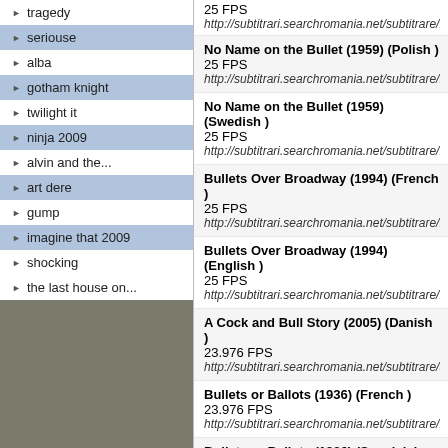tragedy
seriouse
alba
gotham knight
twilight it
ninja 2009
alvin and the...
art dere
gump
imagine that 2009
shocking
the last house on...
No Name on the Bullet (1959) (Polish )
25 FPS
http://subtitrari.searchromania.net/subtitrare/no_name_on_t
No Name on the Bullet (1959) (Swedish )
25 FPS
http://subtitrari.searchromania.net/subtitrare/no_name_on_t
Bullets Over Broadway (1994) (French )
25 FPS
http://subtitrari.searchromania.net/subtitrare/bullets_over_b
Bullets Over Broadway (1994) (English )
25 FPS
http://subtitrari.searchromania.net/subtitrare/bullets_over_b
A Cock and Bull Story (2005) (Danish )
23.976 FPS
http://subtitrari.searchromania.net/subtitrare/a_cock_and_b
Bullets or Ballots (1936) (French )
23.976 FPS
http://subtitrari.searchromania.net/subtitrare/bullets_or_ballo
Bullets or Ballots (1936) (Spanish )
23.976 FPS
http://subtitrari.searchromania.net/subtitrare/bullets_or_ballo
Bullets or Ballots (1936) (English )
23.976 FPS
http://subtitrari.searchromania.net/subtitrare/bullets_or_ballo
Silver Bullet (1985) (Croatian )
25 FPS
http://subtitrari.searchromania.net/subtitrare/silver_bullet_(1